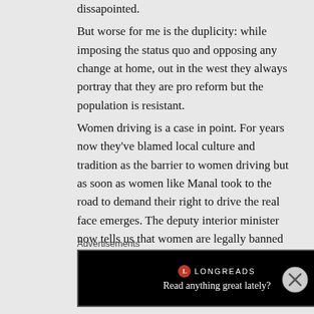dissapointed.
But worse for me is the duplicity: while imposing the status quo and opposing any change at home, out in the west they always portray that they are pro reform but the population is resistant.
Women driving is a case in point. For years now they've blamed local culture and tradition as the barrier to women driving but as soon as women like Manal took to the road to demand their right to drive the real face emerges. The deputy interior minister now tells us that women are legally banned
Advertisements
[Figure (other): Longreads advertisement banner: black background with Longreads logo and tagline 'Read anything great lately?']